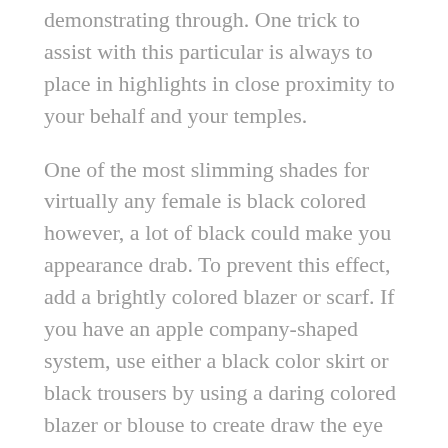demonstrating through. One trick to assist with this particular is always to place in highlights in close proximity to your behalf and your temples.
One of the most slimming shades for virtually any female is black colored however, a lot of black could make you appearance drab. To prevent this effect, add a brightly colored blazer or scarf. If you have an apple company-shaped system, use either a black color skirt or black trousers by using a daring colored blazer or blouse to create draw the eye upwards.
Generally outfit respectfully for the situation. Don't use a pipe top if you're attending a wedding, and don't shorts for the prom. Learn to regard fashion customs, even though you're lured to defy them for no good